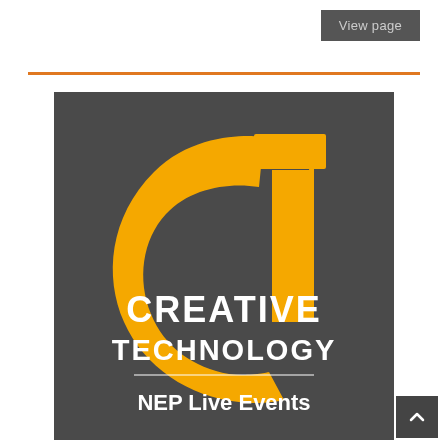View page
[Figure (logo): Creative Technology logo on dark grey background. Features a stylized CT monogram in gold/yellow with a large curved C and vertical T shape. Text reads 'CREATIVE TECHNOLOGY' in white capitals, with a thin white horizontal line, then 'NEP Live Events' in white bold text below.]